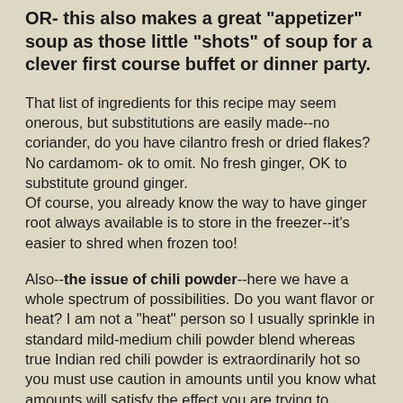OR- this also makes a great "appetizer" soup as those little "shots" of soup for a clever first course buffet or dinner party.
That list of ingredients for this recipe may seem onerous, but substitutions are easily made--no coriander, do you have cilantro fresh or dried flakes? No cardamom- ok to omit. No fresh ginger, OK to substitute ground ginger.
Of course, you already know the way to have ginger root always available is to store in the freezer--it's easier to shred when frozen too!
Also--the issue of chili powder--here we have a whole spectrum of possibilities. Do you want flavor or heat? I am not a "heat" person so I usually sprinkle in standard mild-medium chili powder blend whereas true Indian red chili powder is extraordinarily hot so you must use caution in amounts until you know what amounts will satisfy the effect you are trying to